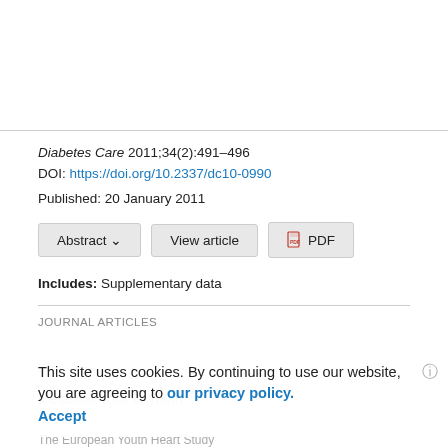Diabetes Care 2011;34(2):491–496
DOI: https://doi.org/10.2337/dc10-0990
Published: 20 January 2011
Abstract ∨   View article   🗎 PDF
Includes: Supplementary data
JOURNAL ARTICLES
This site uses cookies. By continuing to use our website, you are agreeing to our privacy policy. Accept